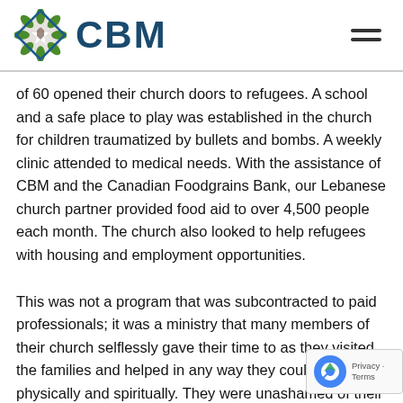CBM
of 60 opened their church doors to refugees. A school and a safe place to play was established in the church for children traumatized by bullets and bombs. A weekly clinic attended to medical needs. With the assistance of CBM and the Canadian Foodgrains Bank, our Lebanese church partner provided food aid to over 4,500 people each month. The church also looked to help refugees with housing and employment opportunities.
This was not a program that was subcontracted to paid professionals; it was a ministry that many members of their church selflessly gave their time to as they visited the families and helped in any way they could, both physically and spiritually. They were unashamed of their faith as they